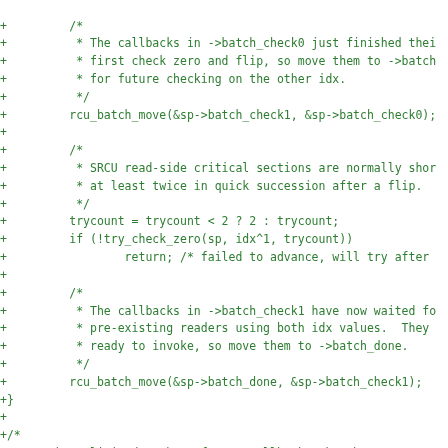[Figure (other): Source code diff showing C code additions (lines prefixed with +) for SRCU batch callback management including rcu_batch_move calls, trycount logic, and a comment about invoking SRCU callbacks]